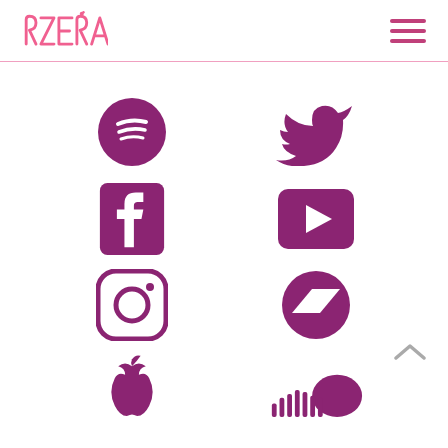[Figure (logo): RZERA brand logo in pink]
[Figure (infographic): Social media icons grid: Spotify, Twitter, Facebook, YouTube, Instagram, Bandcamp, Apple Music, SoundCloud — all in purple/magenta color]
[Figure (other): Up arrow chevron navigation button]